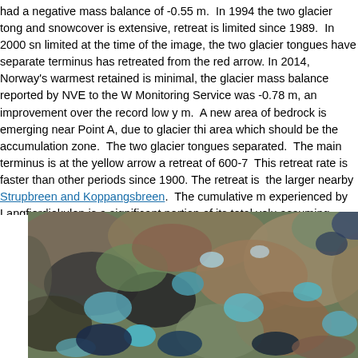had a negative mass balance of -0.55 m.  In 1994 the two glacier tong and snowcover is extensive, retreat is limited since 1989.  In 2000 sn limited at the time of the image, the two glacier tongues have separate terminus has retreated from the red arrow. In 2014, Norway's warmest retained is minimal, the glacier mass balance reported by NVE to the W Monitoring Service was -0.78 m, an improvement over the record low y m.  A new area of bedrock is emerging near Point A, due to glacier thi area which should be the accumulation zone.  The two glacier tongues separated.  The main terminus is at the yellow arrow a retreat of 600-7 This retreat rate is faster than other periods since 1900. The retreat is the larger nearby Strupbreen and Koppangsbreen.  The cumulative m experienced by Langfjordjokulen is a significant portion of its total volu assuming typical glacier thickness for a glacier with this area.  In 2014 Norway terminus fluctuation data from 38 glaciers  with ongoing asses retreating, and 3 were stable.  The average terminus change was -12.
[Figure (photo): Satellite image of Langfjordjokulen glacier area showing rocky terrain with glacier tongues, water bodies, and surrounding landscape in false-color or natural color composite.]